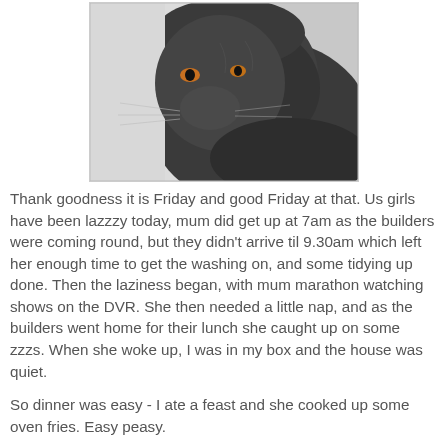[Figure (photo): Close-up photo of a dark grey/black cat with folded ears, viewed from slightly above. The cat appears to be a Scottish Fold. Background is white/light grey.]
Thank goodness it is Friday and good Friday at that.  Us girls have been lazzzy today, mum did get up at 7am as the builders were coming round, but they didn't arrive til 9.30am which left her enough time to get the washing on, and some tidying up done.  Then the laziness began, with mum marathon watching shows on the DVR.  She then needed a little nap, and as the builders went home for their lunch she caught up on  some zzzs.  When she woke up, I was in my box and the house was quiet.
So dinner was easy - I ate a feast and she cooked up some oven fries.  Easy peasy.